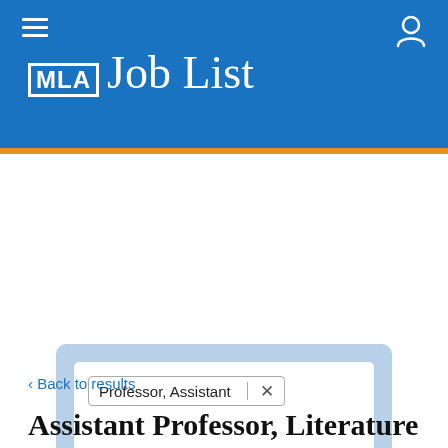MLA Job List
Professor, Assistant ×
Search
< Back to results
Assistant Professor, Literature